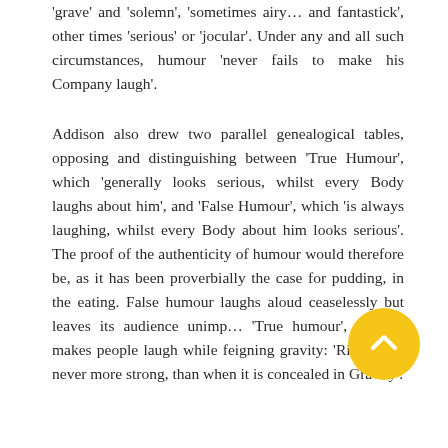'grave' and 'solemn', 'sometimes airy… and fantastick', other times 'serious' or 'jocular'. Under any and all such circumstances, humour 'never fails to make his Company laugh'.
Addison also drew two parallel genealogical tables, opposing and distinguishing between 'True Humour', which 'generally looks serious, whilst every Body laughs about him', and 'False Humour', which 'is always laughing, whilst every Body about him looks serious'. The proof of the authenticity of humour would therefore be, as it has been proverbially the case for pudding, in the eating. False humour laughs aloud ceaselessly but leaves its audience unimp… 'True humour', instead, makes people laugh while feigning gravity: 'Ridicule is never more strong, than when it is concealed in Gravity'.